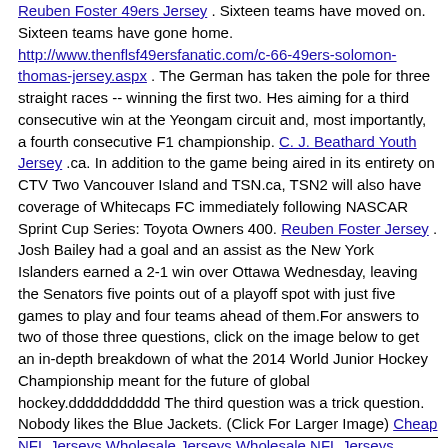Reuben Foster 49ers Jersey . Sixteen teams have moved on. Sixteen teams have gone home. http://www.thenflsf49ersfanatic.com/c-66-49ers-solomon-thomas-jersey.aspx . The German has taken the pole for three straight races -- winning the first two. Hes aiming for a third consecutive win at the Yeongam circuit and, most importantly, a fourth consecutive F1 championship. C. J. Beathard Youth Jersey .ca. In addition to the game being aired in its entirety on CTV Two Vancouver Island and TSN.ca, TSN2 will also have coverage of Whitecaps FC immediately following NASCAR Sprint Cup Series: Toyota Owners 400. Reuben Foster Jersey . Josh Bailey had a goal and an assist as the New York Islanders earned a 2-1 win over Ottawa Wednesday, leaving the Senators five points out of a playoff spot with just five games to play and four teams ahead of them.For answers to two of those three questions, click on the image below to get an in-depth breakdown of what the 2014 World Junior Hockey Championship meant for the future of global hockey.ddddddddddd The third question was a trick question. Nobody likes the Blue Jackets. (Click For Larger Image) Cheap NFL Jerseys Wholesale Jerseys Wholesale NFL Jerseys Jerseys From China Wholesale NFL Jerseys Cheap NFL Jerseys Cheap Jerseys ' ' '